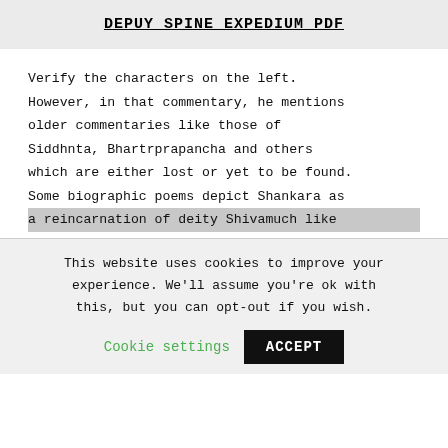DEPUY SPINE EXPEDIUM PDF
Verify the characters on the left. However, in that commentary, he mentions older commentaries like those of Siddhnta, Bhartrprapancha and others which are either lost or yet to be found. Some biographic poems depict Shankara as a reincarnation of deity Shivamuch like
This website uses cookies to improve your experience. We'll assume you're ok with this, but you can opt-out if you wish.
Cookie settings   ACCEPT